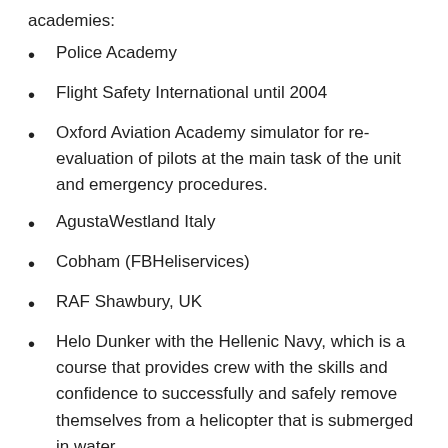academies:
Police Academy
Flight Safety International until 2004
Oxford Aviation Academy simulator for re-evaluation of pilots at the main task of the unit and emergency procedures.
AgustaWestland Italy
Cobham (FBHeliservices)
RAF Shawbury, UK
Helo Dunker with the Hellenic Navy, which is a course that provides crew with the skills and confidence to successfully and safely remove themselves from a helicopter that is submerged in water.